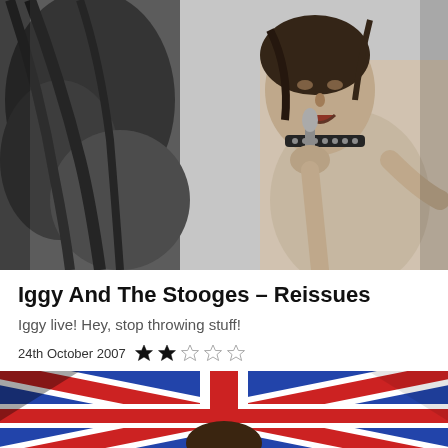[Figure (photo): Black and white photo of Iggy Pop performing live, shirtless wearing a studded collar, holding a microphone close to his mouth, with another person visible on the left]
Iggy And The Stooges – Reissues
Iggy live! Hey, stop throwing stuff!
24th October 2007  ★★☆☆☆
[Figure (photo): Bottom portion of a photo showing a Union Jack flag design in red, white and blue with a person's head visible at the bottom center]